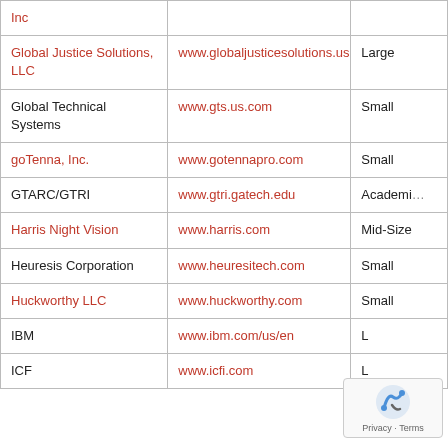| Company | Website | Size |
| --- | --- | --- |
| Inc |  |  |
| Global Justice Solutions, LLC | www.globaljusticesolutions.us | Large |
| Global Technical Systems | www.gts.us.com | Small |
| goTenna, Inc. | www.gotennapro.com | Small |
| GTARC/GTRI | www.gtri.gatech.edu | Academic |
| Harris Night Vision | www.harris.com | Mid-Size |
| Heuresis Corporation | www.heuresitech.com | Small |
| Huckworthy LLC | www.huckworthy.com | Small |
| IBM | www.ibm.com/us/en | L |
| ICF | www.icfi.com | L |